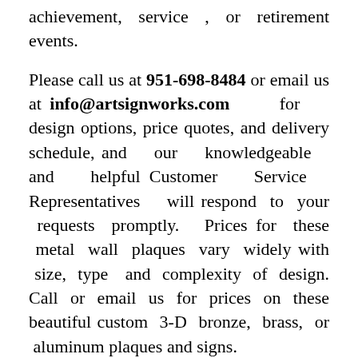achievement, service , or retirement events.
Please call us at 951-698-8484 or email us at info@artsignworks.com for design options, price quotes, and delivery schedule, and our knowledgeable and helpful Customer Service Representatives will respond to your requests promptly. Prices for these metal wall plaques vary widely with size, type and complexity of design. Call or email us for prices on these beautiful custom 3-D bronze, brass, or aluminum plaques and signs.
To see prices or get a Quote form, or an order form , please click on one of the gray boxes in the upper left margin of this page